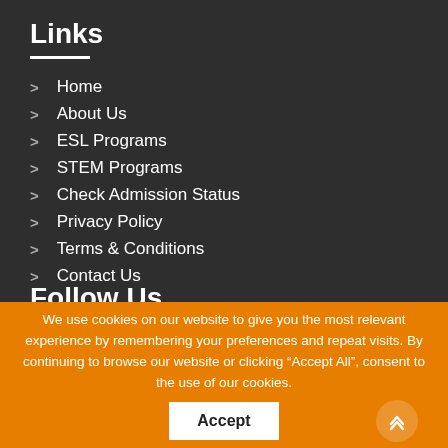Links
Home
About Us
ESL Programs
STEM Programs
Check Admission Status
Privacy Policy
Terms & Conditions
Contact Us
Follow Us
We use cookies on our website to give you the most relevant experience by remembering your preferences and repeat visits. By continuing to browse our website or clicking “Accept All”, consent to the use of our cookies.